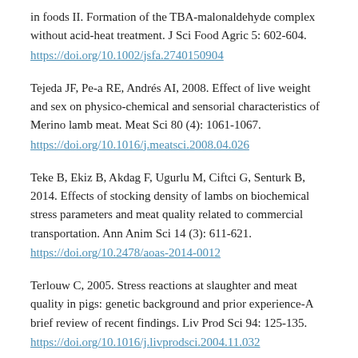in foods II. Formation of the TBA-malonaldehyde complex without acid-heat treatment. J Sci Food Agric 5: 602-604. https://doi.org/10.1002/jsfa.2740150904
Tejeda JF, Pe-a RE, Andrés AI, 2008. Effect of live weight and sex on physico-chemical and sensorial characteristics of Merino lamb meat. Meat Sci 80 (4): 1061-1067. https://doi.org/10.1016/j.meatsci.2008.04.026
Teke B, Ekiz B, Akdag F, Ugurlu M, Ciftci G, Senturk B, 2014. Effects of stocking density of lambs on biochemical stress parameters and meat quality related to commercial transportation. Ann Anim Sci 14 (3): 611-621. https://doi.org/10.2478/aoas-2014-0012
Terlouw C, 2005. Stress reactions at slaughter and meat quality in pigs: genetic background and prior experience-A brief review of recent findings. Liv Prod Sci 94: 125-135. https://doi.org/10.1016/j.livprodsci.2004.11.032